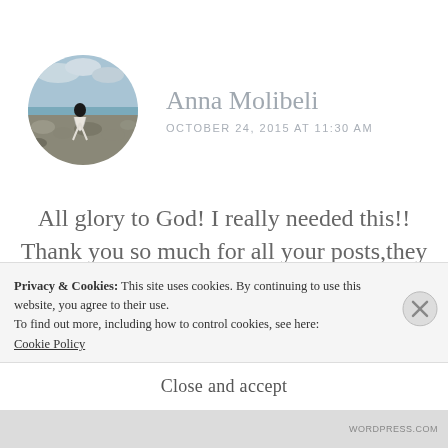[Figure (photo): Circular avatar photo of a person in a white dress on a rocky beach with ocean and cloudy sky in the background]
Anna Molibeli
OCTOBER 24, 2015 AT 11:30 AM
All glory to God! I really needed this!! Thank you so much for all your posts,they help us as singles in our
Privacy & Cookies: This site uses cookies. By continuing to use this website, you agree to their use.
To find out more, including how to control cookies, see here:
Cookie Policy
Close and accept